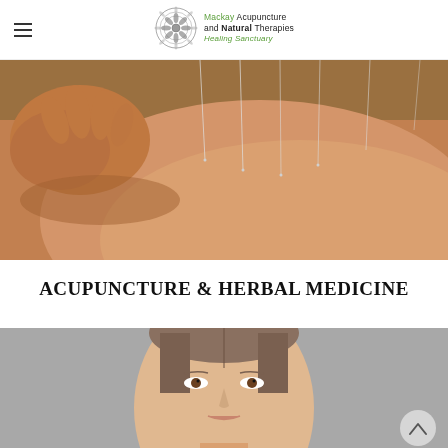[Figure (logo): Mackay Acupuncture and Natural Therapies Healing Sanctuary logo with mandala/floral circular emblem]
[Figure (photo): Close-up photo of acupuncture needles being inserted into a person's back by a practitioner's hand]
ACUPUNCTURE & HERBAL MEDICINE
[Figure (photo): Portrait photo of a young woman with hair pulled back, facing the camera against a grey background]